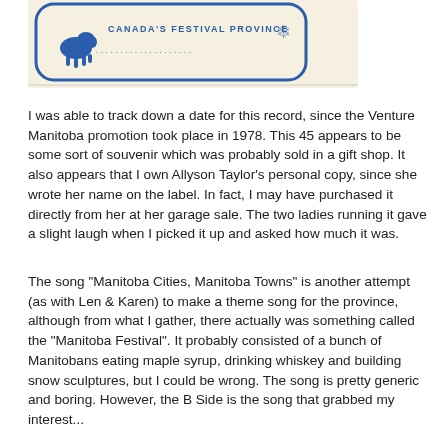[Figure (photo): A photo of a record label showing a bison logo and text 'CANADA'S FESTIVAL PROVINCE' in blue, on a cream/white background with a blue rounded rectangle border.]
I was able to track down a date for this record, since the Venture Manitoba promotion took place in 1978. This 45 appears to be some sort of souvenir which was probably sold in a gift shop. It also appears that I own Allyson Taylor's personal copy, since she wrote her name on the label. In fact, I may have purchased it directly from her at her garage sale. The two ladies running it gave a slight laugh when I picked it up and asked how much it was.
The song "Manitoba Cities, Manitoba Towns" is another attempt (as with Len & Karen) to make a theme song for the province, although from what I gather, there actually was something called the "Manitoba Festival". It probably consisted of a bunch of Manitobans eating maple syrup, drinking whiskey and building snow sculptures, but I could be wrong. The song is pretty generic and boring. However, the B Side is the song that grabbed my interest...